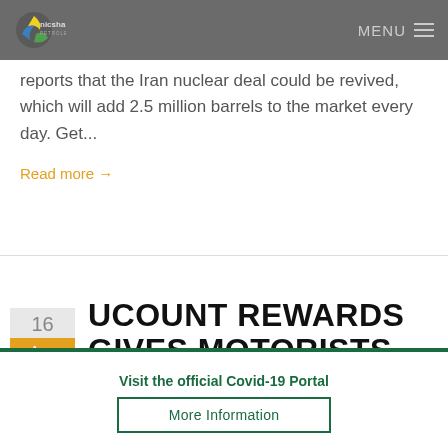nicsha petroleum – MENU
reports that the Iran nuclear deal could be revived, which will add 2.5 million barrels to the market every day. Get...
Read more →
UCOUNT REWARDS GIVES MOTORISTS
Visit the official Covid-19 Portal
More Information